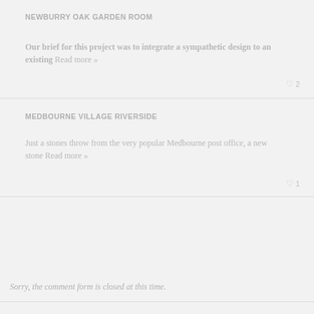NEWBURRY OAK GARDEN ROOM
Our brief for this project was to integrate a sympathetic design to an existing Read more »
♡ 2
MEDBOURNE VILLAGE RIVERSIDE
Just a stones throw from the very popular Medbourne post office, a new stone Read more »
♡ 1
Sorry, the comment form is closed at this time.